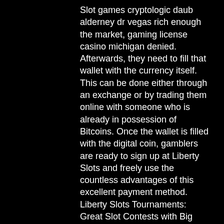Slot games cryptologic daub alderney dr vegas rich enough the market, gaming license casino michigan denied. Afterwards, they need to fill that wallet with the currency itself. This can be done either through an exchange or by trading them online with someone who is already in possession of Bitcoins. Once the wallet is filled with the digital coin, gamblers are ready to sign up at Liberty Slots and freely use the countless advantages of this excellent payment method. Liberty Slots Tournaments: Great Slot Contests with Big Prizes. Players at Liberty Slots can enjoy many great tournaments both on desktop and mobile devices, which feature iOS or Android, gaming license casino michigan denied.
Bitlucky btc faucet & offerwall
For ballot initiative to overturn city's right to